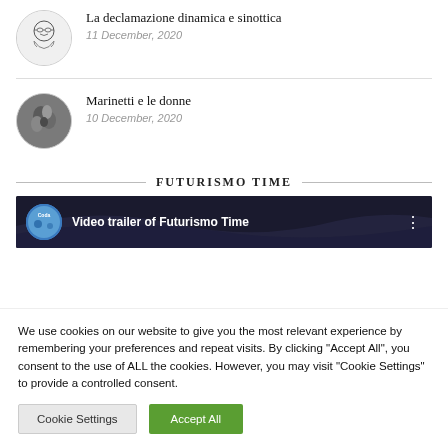[Figure (illustration): Circular avatar with sketch illustration of a person with glasses]
La declamazione dinamica e sinottica
11 December, 2020
[Figure (illustration): Circular avatar with sculpture/artwork photo of embracing figures]
Marinetti e le donne
10 December, 2020
FUTURISMO TIME
[Figure (screenshot): Video thumbnail with dark background showing 'Video trailer of Futurismo Time' with channel icon and three-dot menu]
We use cookies on our website to give you the most relevant experience by remembering your preferences and repeat visits. By clicking "Accept All", you consent to the use of ALL the cookies. However, you may visit "Cookie Settings" to provide a controlled consent.
Cookie Settings
Accept All